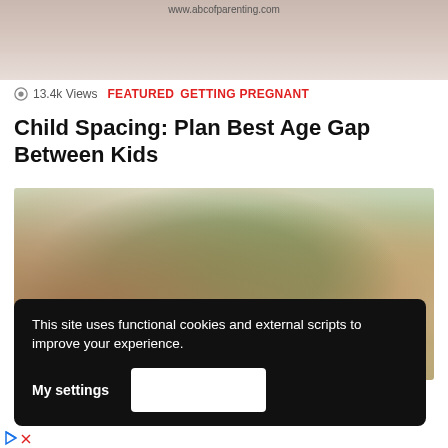[Figure (photo): Top portion of a photo from abcofparenting.com showing a blurred background image]
13.4k Views   FEATURED   GETTING PREGNANT
Child Spacing: Plan Best Age Gap Between Kids
[Figure (photo): Children sitting around a table doing arts and crafts activities with paint and colorful materials]
This site uses functional cookies and external scripts to improve your experience.
My settings